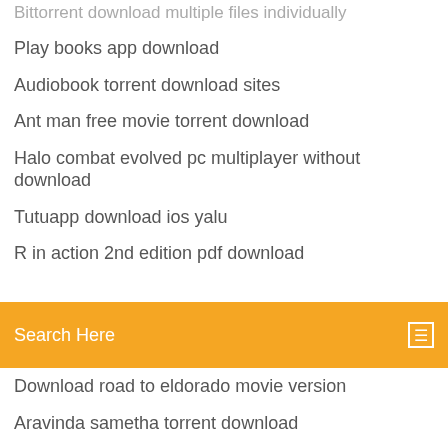Play books app download
Audiobook torrent download sites
Ant man free movie torrent download
Halo combat evolved pc multiplayer without download
Tutuapp download ios yalu
R in action 2nd edition pdf download
[Figure (screenshot): Orange search bar with text 'Search Here' and a menu icon on the right]
Download road to eldorado movie version
Aravinda sametha torrent download
Olive green tree bible app download for windows
Minecraft dantdm first lab map download 1.7.10
Deadpool 2 torrent download kickass
Download files from google drive locally
2019 troubleshoot amazon kindle android not downloading
Icon file format mac download png
Unable to download new web browser windows 7
Download google play on pc